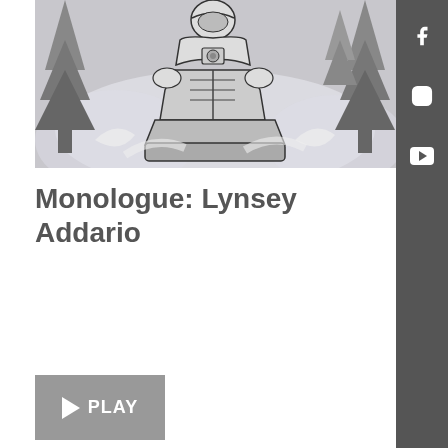[Figure (illustration): Pencil sketch illustration of a person riding a snowmobile or motorcycle, wearing a helmet, with pine trees in the background. Black and white hand-drawn style on grey paper.]
Monologue: Lynsey Addario
[Figure (other): Play button interface element with grey background, white triangle play icon and 'PLAY' text]